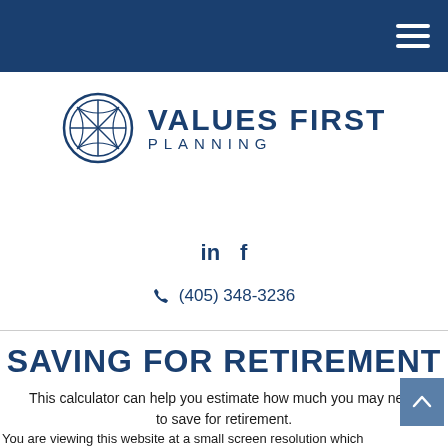Values First Planning — navigation header with hamburger menu
[Figure (logo): Values First Planning logo: circular geometric star/compass design in navy blue, with text 'VALUES FIRST PLANNING' to the right]
in  f
(405) 348-3236
SAVING FOR RETIREMENT
This calculator can help you estimate how much you may need to save for retirement.
You are viewing this website at a small screen resolution which